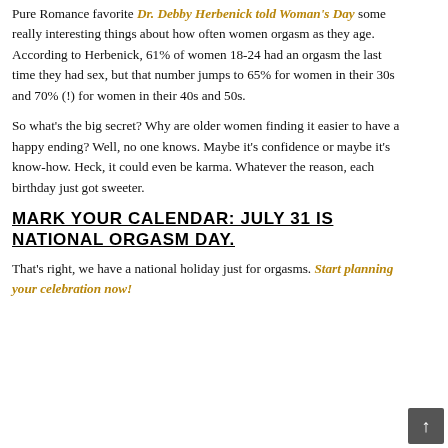Pure Romance favorite Dr. Debby Herbenick told Woman's Day some really interesting things about how often women orgasm as they age. According to Herbenick, 61% of women 18-24 had an orgasm the last time they had sex, but that number jumps to 65% for women in their 30s and 70% (!) for women in their 40s and 50s.
So what's the big secret? Why are older women finding it easier to have a happy ending? Well, no one knows. Maybe it's confidence or maybe it's know-how. Heck, it could even be karma. Whatever the reason, each birthday just got sweeter.
MARK YOUR CALENDAR: JULY 31 IS NATIONAL ORGASM DAY.
That's right, we have a national holiday just for orgasms. Start planning your celebration now!